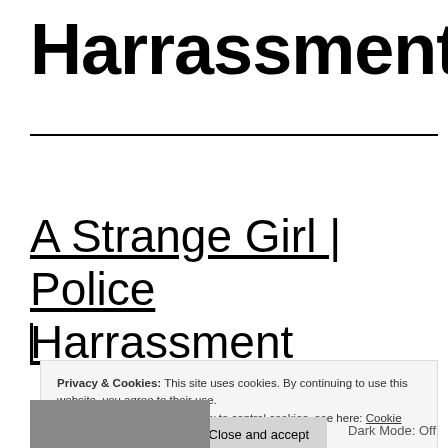Harrassment
A Strange Girl | Police Harrassment
Privacy & Cookies: This site uses cookies. By continuing to use this website, you agree to their use. To find out more, including how to control cookies, see here: Cookie Policy
Close and accept
Dark Mode: Off